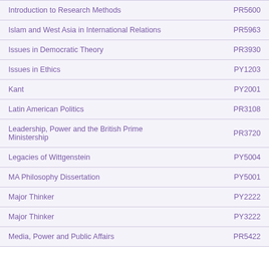| Course Name | Course Code |
| --- | --- |
| Introduction to Research Methods | PR5600 |
| Islam and West Asia in International Relations | PR5963 |
| Issues in Democratic Theory | PR3930 |
| Issues in Ethics | PY1203 |
| Kant | PY2001 |
| Latin American Politics | PR3108 |
| Leadership, Power and the British Prime Ministership | PR3720 |
| Legacies of Wittgenstein | PY5004 |
| MA Philosophy Dissertation | PY5001 |
| Major Thinker | PY2222 |
| Major Thinker | PY3222 |
| Media, Power and Public Affairs | PR5422 |